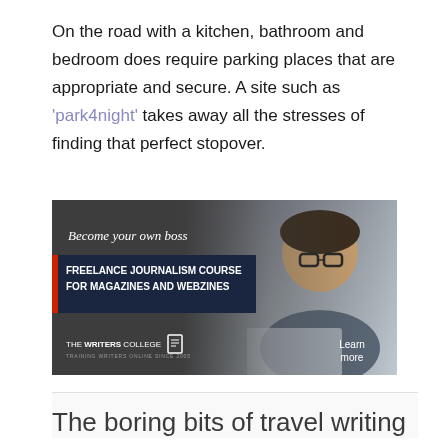On the road with a kitchen, bathroom and bedroom does require parking places that are appropriate and secure. A site such as 'park4night' takes away all the stresses of finding that perfect stopover.
[Figure (illustration): Advertisement banner for The Writers College Freelance Journalism Course for Magazines and Webzines. Dark background with photo of smiling man in glasses at laptop. Text: 'Become your own boss', 'FREELANCE JOURNALISM COURSE FOR MAGAZINES AND WEBZINES', 'THE WRITERS COLLEGE TRAINING WRITERS ONLINE SINCE 2005', 'Learn more'.]
The boring bits of travel writing